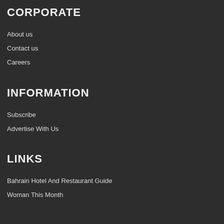CORPORATE
About us
Contact us
Careers
INFORMATION
Subscribe
Advertise With Us
LINKS
Bahrain Hotel And Restaurant Guide
Woman This Month